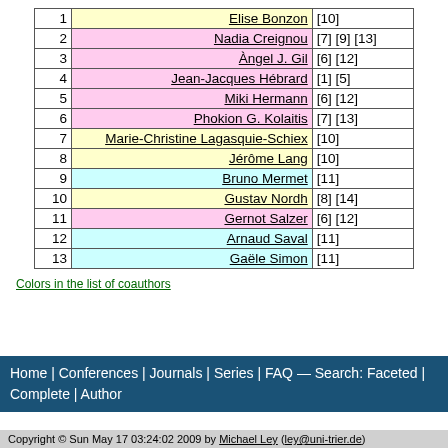| # | Name | Refs |
| --- | --- | --- |
| 1 | Elise Bonzon | [10] |
| 2 | Nadia Creignou | [7] [9] [13] |
| 3 | Àngel J. Gil | [6] [12] |
| 4 | Jean-Jacques Hébrard | [1] [5] |
| 5 | Miki Hermann | [6] [12] |
| 6 | Phokion G. Kolaitis | [7] [13] |
| 7 | Marie-Christine Lagasquie-Schiex | [10] |
| 8 | Jérôme Lang | [10] |
| 9 | Bruno Mermet | [11] |
| 10 | Gustav Nordh | [8] [14] |
| 11 | Gernot Salzer | [6] [12] |
| 12 | Arnaud Saval | [11] |
| 13 | Gaële Simon | [11] |
Colors in the list of coauthors
Home | Conferences | Journals | Series | FAQ — Search: Faceted | Complete | Author
Copyright © Sun May 17 03:24:02 2009 by Michael Ley (ley@uni-trier.de)